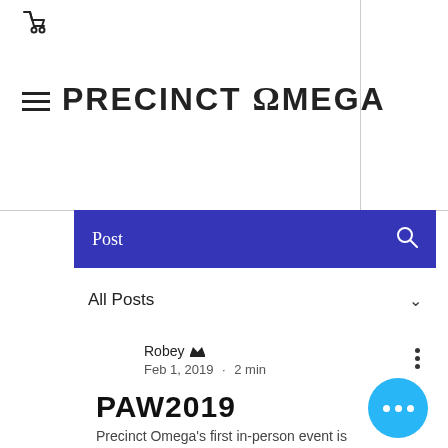[Figure (screenshot): Website header with cart icon, hamburger menu, and Precinct Omega logo]
PRECINCT OMEGA
Post
All Posts
Robey  Feb 1, 2019 · 2 min
PAW2019
Precinct Omega's first in-person event is